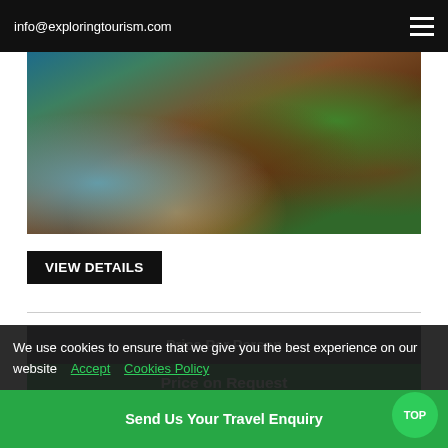info@exploringtourism.com
[Figure (photo): Aerial coastal landscape showing turquoise ocean waves meeting orange-red cliffs with green vegetation]
VIEW DETAILS
| Price Per Person |
| --- |
| Price on Request |
| CONTACT US |
10 Day New France – Heritage Of Quebec
We use cookies to ensure that we give you the best experience on our website  Accept  Cookies Policy
Send Us Your Travel Enquiry